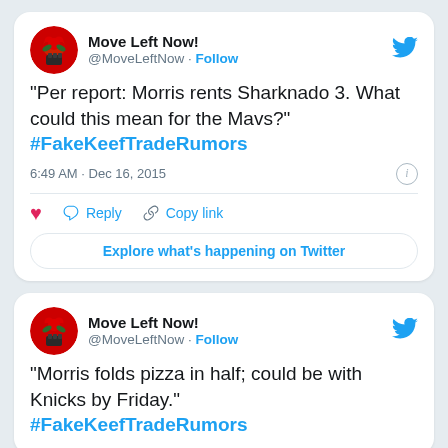[Figure (screenshot): First tweet card from @MoveLeftNow with text about Morris renting Sharknado 3 and hashtag #FakeKeefTradeRumors, timestamped 6:49 AM · Dec 16, 2015]
[Figure (screenshot): Second tweet card from @MoveLeftNow with text about Morris folding pizza in half and hashtag #FakeKeefTradeRumors]